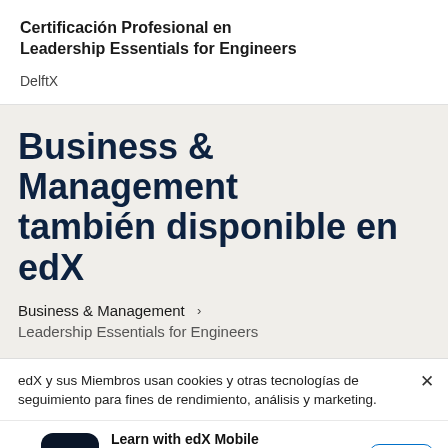Certificación Profesional en Leadership Essentials for Engineers
DelftX
Business & Management también disponible en edX
Business & Management >
Leadership Essentials for Engineers
edX y sus Miembros usan cookies y otras tecnologías de seguimiento para fines de rendimiento, análisis y marketing.
Learn with edX Mobile
Full courses in your pocket so you can learn on the go
★★★★½
Get